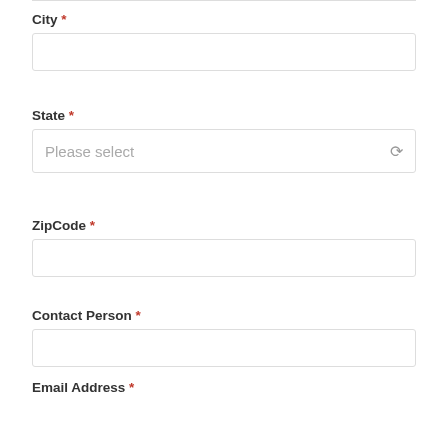City *
State *
ZipCode *
Contact Person *
Email Address *
Telephone Number *